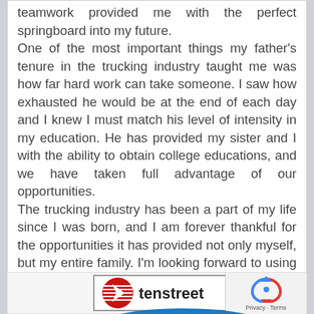teamwork provided me with the perfect springboard into my future. One of the most important things my father's tenure in the trucking industry taught me was how far hard work can take someone. I saw how exhausted he would be at the end of each day and I knew I must match his level of intensity in my education. He has provided my sister and I with the ability to obtain college educations, and we have taken full advantage of our opportunities. The trucking industry has been a part of my life since I was born, and I am forever thankful for the opportunities it has provided not only myself, but my entire family. I'm looking forward to using these advantages to pay back the investment made in me.
[Figure (logo): Tenstreet logo with red circle and chevron arrow]